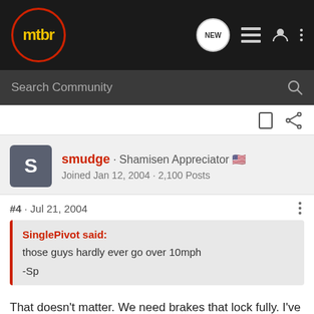mtbr
Search Community
smudge · Shamisen Appreciator 🇺🇸
Joined Jan 12, 2004 · 2,100 Posts
#4 · Jul 21, 2004
SinglePivot said:
those guys hardly ever go over 10mph

-Sp
That doesn't matter. We need brakes that lock fully. I've had numerous problems with Magura Julies; Hope Enduros', M4's